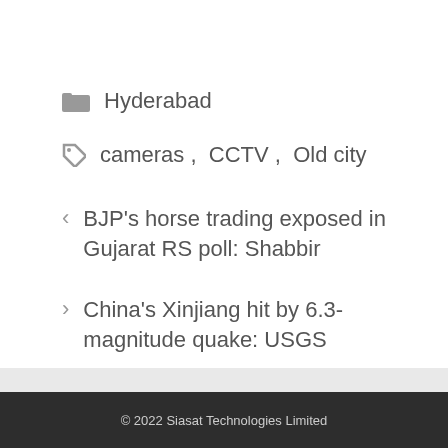Hyderabad
cameras , CCTV , Old city
< BJP's horse trading exposed in Gujarat RS poll: Shabbir
> China's Xinjiang hit by 6.3-magnitude quake: USGS
© 2022 Siasat Technologies Limited